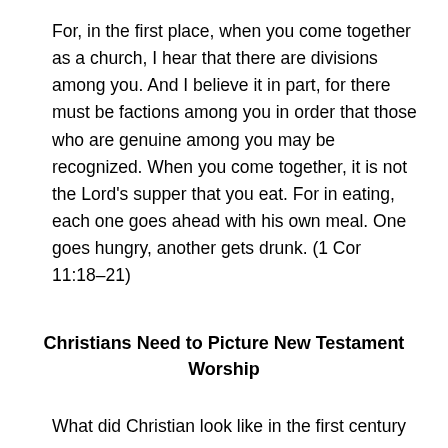For, in the first place, when you come together as a church, I hear that there are divisions among you. And I believe it in part, for there must be factions among you in order that those who are genuine among you may be recognized. When you come together, it is not the Lord's supper that you eat. For in eating, each one goes ahead with his own meal. One goes hungry, another gets drunk. (1 Cor 11:18–21)
Christians Need to Picture New Testament Worship
What did Christian look like in the first century